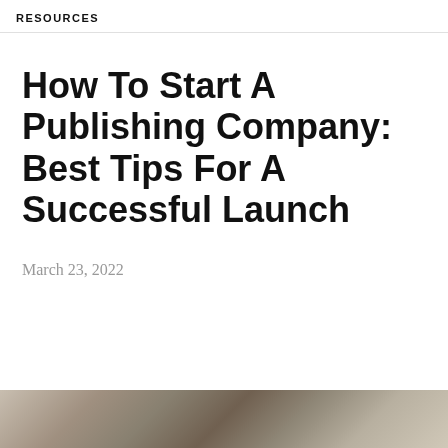RESOURCES
How To Start A Publishing Company: Best Tips For A Successful Launch
March 23, 2022
[Figure (photo): Partial view of a photo at the bottom of the page, showing a blurred background scene in warm tones]